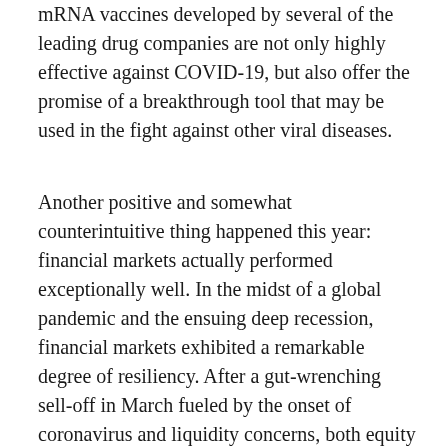mRNA vaccines developed by several of the leading drug companies are not only highly effective against COVID-19, but also offer the promise of a breakthrough tool that may be used in the fight against other viral diseases.
Another positive and somewhat counterintuitive thing happened this year: financial markets actually performed exceptionally well. In the midst of a global pandemic and the ensuing deep recession, financial markets exhibited a remarkable degree of resiliency. After a gut-wrenching sell-off in March fueled by the onset of coronavirus and liquidity concerns, both equity and fixed-income markets staged impressive rallies and finished the year up sharply. Among other things, an unprecedented level of intervention by the Fed helped support (and potentially inflate) asset prices.